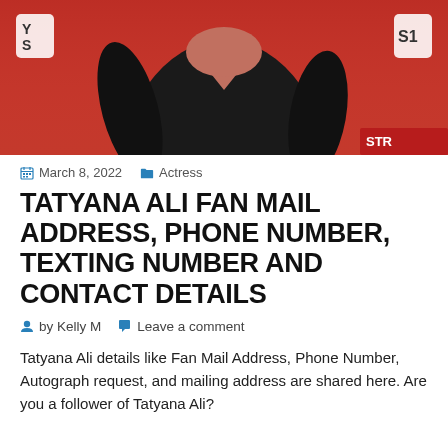[Figure (photo): Photo of Tatyana Ali in a black sequined outfit against a red background with event signage. White badges visible on left and right sides, partial text visible on right badge ('S1') and lower right corner ('STR').]
March 8, 2022   Actress
TATYANA ALI FAN MAIL ADDRESS, PHONE NUMBER, TEXTING NUMBER AND CONTACT DETAILS
by Kelly M   Leave a comment
Tatyana Ali details like Fan Mail Address, Phone Number, Autograph request, and mailing address are shared here. Are you a follower of Tatyana Ali?